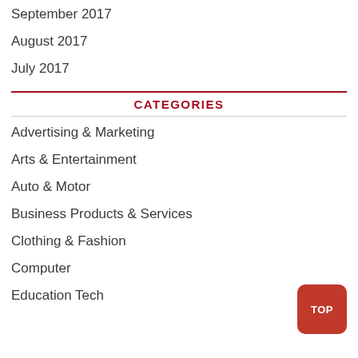September 2017
August 2017
July 2017
CATEGORIES
Advertising & Marketing
Arts & Entertainment
Auto & Motor
Business Products & Services
Clothing & Fashion
Computer
Education Tech